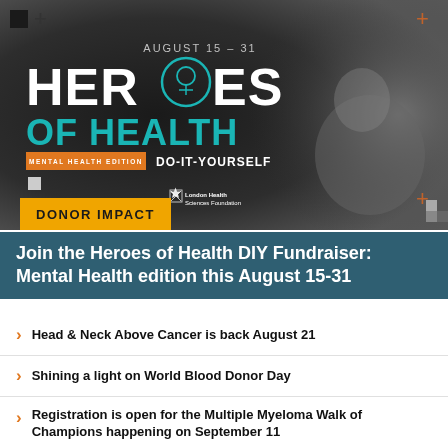[Figure (illustration): Heroes of Health DIY fundraiser promotional banner with dark background, person silhouette, title text AUGUST 15-31, HEROES OF HEALTH, MENTAL HEALTH EDITION, DO-IT-YOURSELF, London Health Sciences Foundation logo, and decorative corner marks]
DONOR IMPACT
Join the Heroes of Health DIY Fundraiser: Mental Health edition this August 15-31
Head & Neck Above Cancer is back August 21
Shining a light on World Blood Donor Day
Registration is open for the Multiple Myeloma Walk of Champions happening on September 11